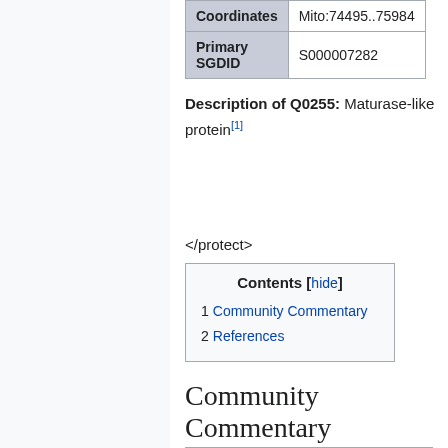|  |  |
| --- | --- |
| Coordinates | Mito:74495..75984 |
| Primary SGDID | S000007282 |
Description of Q0255: Maturase-like protein[1]
</protect>
| Contents [hide] |
| --- |
| 1  Community Commentary |
| 2  References |
Community Commentary
About Community Commentary. Please share your knowledge!